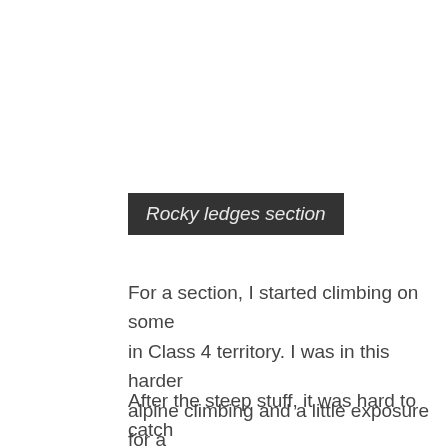Rocky ledges section
For a section, I started climbing on some in Class 4 territory. I was in this harder alpine climbing and a little exposure for a
After the steep stuff, it was hard to catch way to the summit and sign the registra